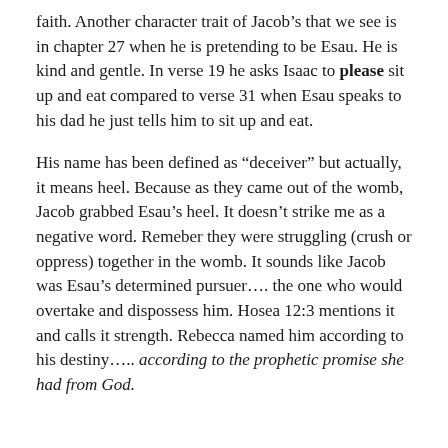faith.  Another character trait of Jacob's that we see is in chapter 27 when he is pretending to be Esau.  He is kind and gentle.  In verse 19 he asks Isaac to please sit up and eat compared to verse 31 when Esau speaks to his dad he just tells him to sit up and eat.
His name has been defined as “deceiver” but actually, it means heel.  Because as they came out of the womb, Jacob grabbed Esau’s heel.  It doesn’t strike me as a negative word.  Remeber they were struggling (crush or oppress) together in the womb.  It sounds like Jacob was Esau’s determined pursuer…. the one who would overtake and dispossess him.  Hosea 12:3 mentions it and calls it strength.  Rebecca named him according to his destiny….. according to the prophetic promise she had from God.